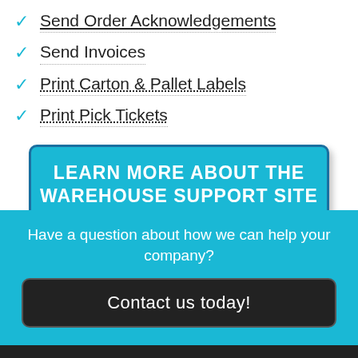Send Order Acknowledgements
Send Invoices
Print Carton & Pallet Labels
Print Pick Tickets
LEARN MORE ABOUT THE WAREHOUSE SUPPORT SITE
Have a question about how we can help your company?
Contact us today!